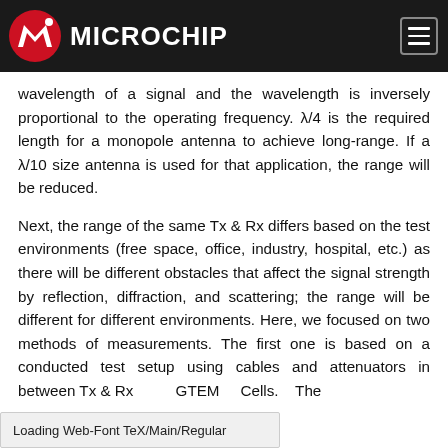Microchip
wavelength of a signal and the wavelength is inversely proportional to the operating frequency. λ/4 is the required length for a monopole antenna to achieve long-range. If a λ/10 size antenna is used for that application, the range will be reduced.
Next, the range of the same Tx & Rx differs based on the test environments (free space, office, industry, hospital, etc.) as there will be different obstacles that affect the signal strength by reflection, diffraction, and scattering; the range will be different for different environments. Here, we focused on two methods of measurements. The first one is based on a conducted test setup using cables and attenuators in between Tx & Rx
Loading Web-Font TeX/Main/Regular